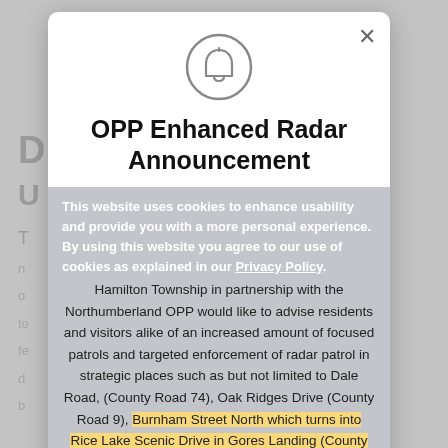[Figure (screenshot): Modal popup dialog with a bell icon, showing an OPP Enhanced Radar Announcement on a government website. Background shows a greyed-out page with a cookie consent overlay.]
OPP Enhanced Radar Announcement
Hamilton Township in partnership with the Northumberland OPP would like to advise residents and visitors alike of an increased amount of focused patrols and targeted enforcement of radar patrol in strategic places such as but not limited to Dale Road, (County Road 74), Oak Ridges Drive (County Road 9), Burnham Street North which turns into Rice Lake Scenic Drive in Gores Landing (County Road 18), and County Road 45, in an effort to keep our busy roadways safe.
This website uses cookies to enhance usability and provide you with a more personal experience. By using this website you agree to our use of cookies as explained in our Privacy Policy.